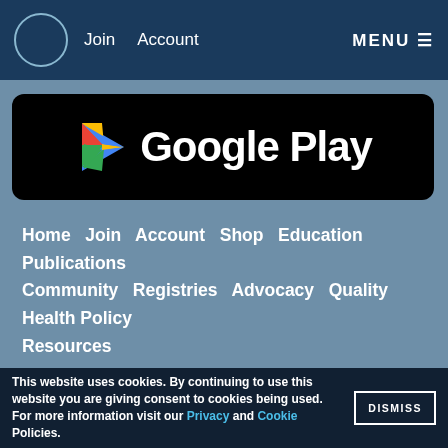Join  Account  MENU ☰
[Figure (screenshot): Google Play store badge on black background with colorful play icon]
Home  Join  Account  Shop  Education  Publications  Community  Registries  Advocacy  Quality  Health Policy  Resources
MY ACCOUNT
Dashboard  My Info  CME Report  Committees  Manage Connect Profile  Order History
JOIN ASPS
Active Membership  International Membership  Residents and Fellows  International Residents  Medical Students  Associate Membership  Allied Health Affiliate Membership
This website uses cookies. By continuing to use this website you are giving consent to cookies being used. For more information visit our Privacy and Cookie Policies.  DISMISS